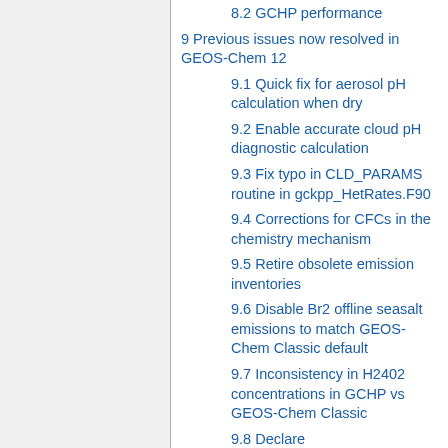8.2 GCHP performance
9 Previous issues now resolved in GEOS-Chem 12
9.1 Quick fix for aerosol pH calculation when dry
9.2 Enable accurate cloud pH diagnostic calculation
9.3 Fix typo in CLD_PARAMS routine in gckpp_HetRates.F90
9.4 Corrections for CFCs in the chemistry mechanism
9.5 Retire obsolete emission inventories
9.6 Disable Br2 offline seasalt emissions to match GEOS-Chem Classic default
9.7 Inconsistency in H2402 concentrations in GCHP vs GEOS-Chem Classic
9.8 Declare State_Met%AREA_M2 as 2-dimensional, not 3-dimensional